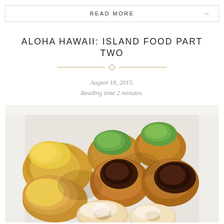READ MORE →
ALOHA HAWAII: ISLAND FOOD PART TWO
August 18, 2015.
Reading time 2 minutes.
[Figure (photo): A box of assorted Hawaiian pastries/malasadas with various toppings including green (matcha), yellow (custard), and chocolate glazed, plus powdered sugar donuts at the bottom]